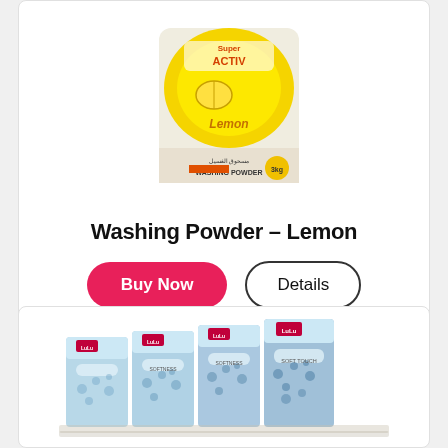[Figure (photo): Washing Powder Lemon product bag, yellow packaging with lemon graphic and Arabic/English text]
Washing Powder – Lemon
[Figure (photo): LuLu Soft Touch tissue boxes, multiple boxes side by side with blue floral pattern packaging]